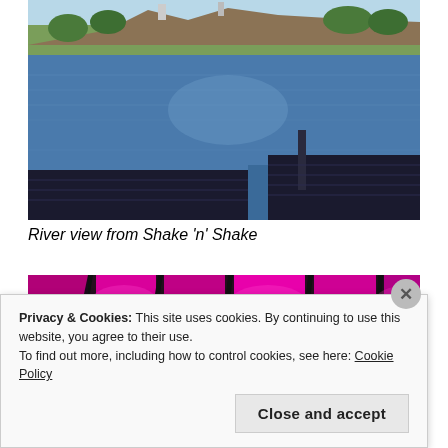[Figure (photo): River view from a boat dock in the foreground, with a fortress/castle on a hilltop across the river, surrounded by trees, under a blue sky.]
River view from Shake ‘n’ Shake
[Figure (photo): Interior photo showing bright pink/magenta illuminated ceiling panels with dark structural beams.]
Privacy & Cookies: This site uses cookies. By continuing to use this website, you agree to their use.
To find out more, including how to control cookies, see here: Cookie Policy
Close and accept